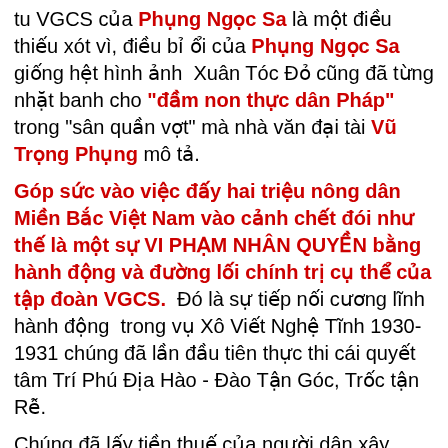tu VGCS của Phụng Ngọc Sa là một điều thiếu xót vì, điều bỉ ổi của Phụng Ngọc Sa giống hệt hình ảnh  Xuân Tóc Đỏ cũng đã từng nhặt banh cho "đầm non thực dân Pháp" trong "sân quần vợt" mà nhà văn đại tài Vũ Trọng Phụng mô tả.
Góp sức vào việc đấy hai triệu nông dân Miền Bắc Việt Nam vào cảnh chết đói như thế là một sự VI PHẠM NHÂN QUYỀN bằng hành động và đường lối chính trị cụ thể của tập đoàn VGCS.  Đó là sự tiếp nối cương lĩnh hành động  trong vụ Xô Viết Nghệ Tĩnh 1930-1931 chúng đã lần đầu tiên thực thi cái quyết tâm Trí Phú Địa Hào - Đào Tận Góc, Trốc tận Rễ.
Chúng đã lấy tiền thuế của người dân xây dựng tượng đài, đền thờ, nhà lưu niệm, nhà bảo tàng, công viên...để tưởng nhớ những tên ác ôn, khát máu trùm việt gian cộng sản, thậm chí cả một khu công viên, chỉ để ghi công non chục đứa thanh niên xung